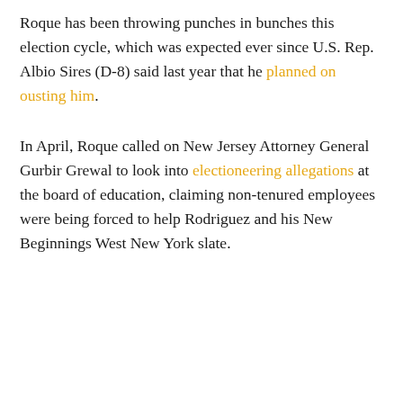Roque has been throwing punches in bunches this election cycle, which was expected ever since U.S. Rep. Albio Sires (D-8) said last year that he planned on ousting him.
In April, Roque called on New Jersey Attorney General Gurbir Grewal to look into electioneering allegations at the board of education, claiming non-tenured employees were being forced to help Rodriguez and his New Beginnings West New York slate.